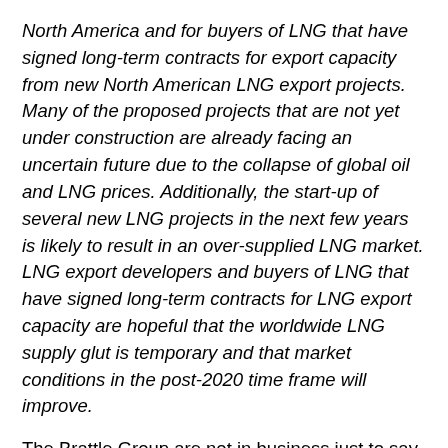North America and for buyers of LNG that have signed long-term contracts for export capacity from new North American LNG export projects. Many of the proposed projects that are not yet under construction are already facing an uncertain future due to the collapse of global oil and LNG prices. Additionally, the start-up of several new LNG projects in the next few years is likely to result in an over-supplied LNG market. LNG export developers and buyers of LNG that have signed long-term contracts for LNG export capacity are hopeful that the worldwide LNG supply glut is temporary and that market conditions in the post-2020 time frame will improve.
The Brattle Group are not in business just to say No to projects in BC.
And Scotiabank agrees with them, too!